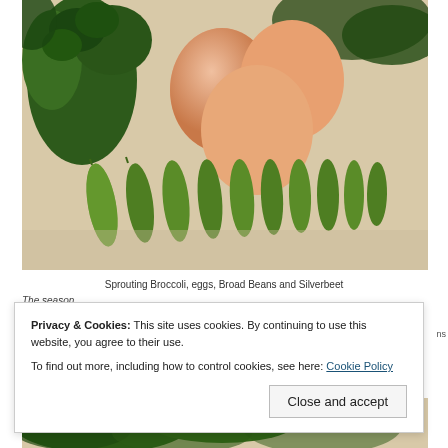[Figure (photo): Photo of sprouting broccoli, three brown eggs, broad bean pods, and silverbeet on a wooden surface]
Sprouting Broccoli, eggs, Broad Beans and Silverbeet
Privacy & Cookies: This site uses cookies. By continuing to use this website, you agree to their use. To find out more, including how to control cookies, see here: Cookie Policy
[Figure (photo): Partial photo of green leafy vegetables (silverbeet) at bottom of page]